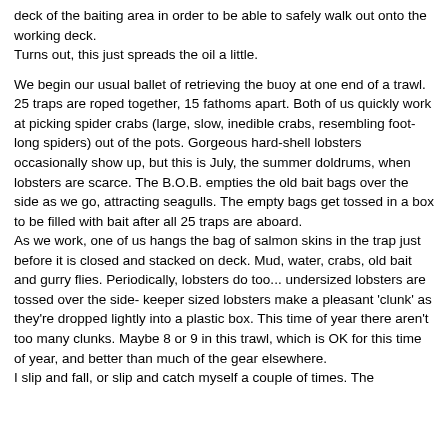deck of the baiting area in order to be able to safely walk out onto the working deck.
Turns out, this just spreads the oil a little.
We begin our usual ballet of retrieving the buoy at one end of a trawl. 25 traps are roped together, 15 fathoms apart. Both of us quickly work at picking spider crabs (large, slow, inedible crabs, resembling foot-long spiders) out of the pots. Gorgeous hard-shell lobsters occasionally show up, but this is July, the summer doldrums, when lobsters are scarce. The B.O.B. empties the old bait bags over the side as we go, attracting seagulls. The empty bags get tossed in a box to be filled with bait after all 25 traps are aboard.
As we work, one of us hangs the bag of salmon skins in the trap just before it is closed and stacked on deck. Mud, water, crabs, old bait and gurry flies. Periodically, lobsters do too... undersized lobsters are tossed over the side- keeper sized lobsters make a pleasant 'clunk' as they're dropped lightly into a plastic box. This time of year there aren't too many clunks. Maybe 8 or 9 in this trawl, which is OK for this time of year, and better than much of the gear elsewhere.
I slip and fall, or slip and catch myself a couple of times. The deck is getting slippery. About 15 minutes and we're done loading.